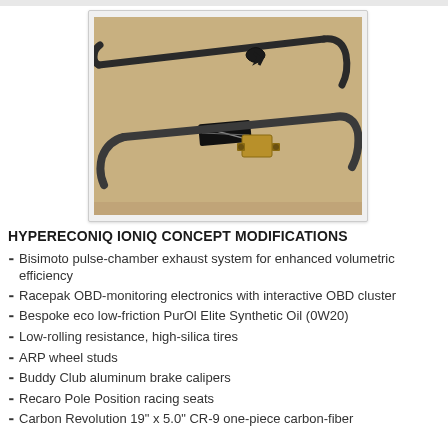[Figure (photo): Two black metal sway bars or anti-roll bars with curved ends and a brass/gold colored bracket fitting, shown on a tan/beige surface with a small black branded label visible]
HYPERECONIQ IONIQ CONCEPT MODIFICATIONS
Bisimoto pulse-chamber exhaust system for enhanced volumetric efficiency
Racepak OBD-monitoring electronics with interactive OBD cluster
Bespoke eco low-friction PurOl Elite Synthetic Oil (0W20)
Low-rolling resistance, high-silica tires
ARP wheel studs
Buddy Club aluminum brake calipers
Recaro Pole Position racing seats
Carbon Revolution 19" x 5.0" CR-9 one-piece carbon-fiber